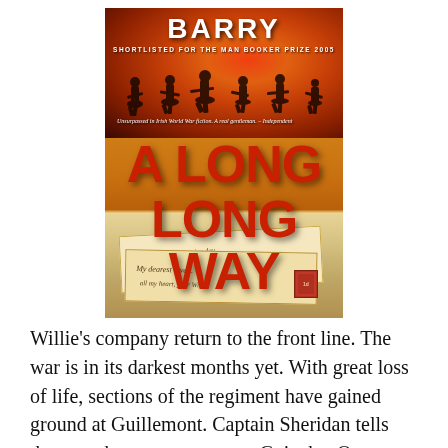[Figure (illustration): Book cover of 'A Long Long Way' by Sebastian Barry, shortlisted for the Man Booker Prize 2005. Cover shows soldiers silhouetted against a fiery orange-red sky at the top, large bold red title text 'A LONG LONG WAY' in the center on a yellow/golden background, and old handwritten letters/envelopes at the bottom.]
Willie's company return to the front line. The war is in its darkest months yet. With great loss of life, sections of the regiment have gained ground at Guillemont. Captain Sheridan tells the men they are press on to Guinchy. Once again, the men gather before Father Buckley